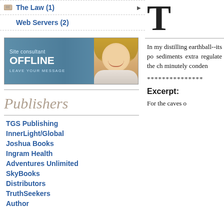The Law (1)
Web Servers (2)
[Figure (other): Site consultant OFFLINE banner with photo of smiling woman]
Publishers
TGS Publishing
InnerLight/Global
Joshua Books
Ingram Health
Adventures Unlimited
SkyBooks
Distributors
TruthSeekers
Author
T
In my distilling earthball--its po sediments extra regulate the ch minutely conden
***************
Excerpt:
For the caves o